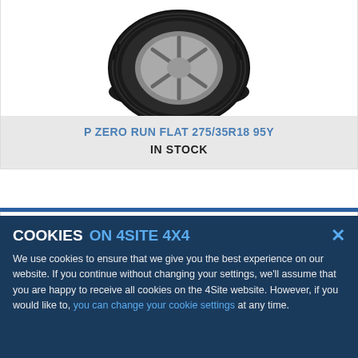[Figure (photo): Pirelli P Zero Run Flat tire product photo, top view, dark tire on silver alloy wheel]
P ZERO RUN FLAT 275/35R18 95Y
IN STOCK
[Figure (photo): Pirelli P Zero tire product photo, P ZERO text visible on sidewall, dark tire on silver alloy wheel]
COOKIES ON 4SITE 4X4
We use cookies to ensure that we give you the best experience on our website. If you continue without changing your settings, we'll assume that you are happy to receive all cookies on the 4Site website. However, if you would like to, you can change your cookie settings at any time.